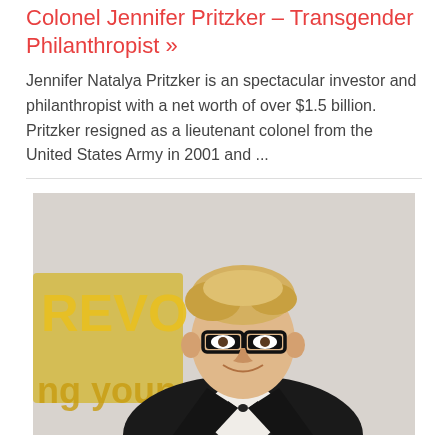Colonel Jennifer Pritzker – Transgender Philanthropist »
Jennifer Natalya Pritzker is an spectacular investor and philanthropist with a net worth of over $1.5 billion. Pritzker resigned as a lieutenant colonel from the United States Army in 2001 and ...
[Figure (photo): Young blonde man with black-rimmed glasses wearing a black tuxedo with bow tie, smiling at camera. Background shows partial text 'REVO' and 'ng young'.]
Tyler Oakley – YouTube Sensation »
He sees Ellen DeGeneres as a role model, "She epitomizes what I need my experience to be and my impact to be, the place it's a positive one, it's a glad